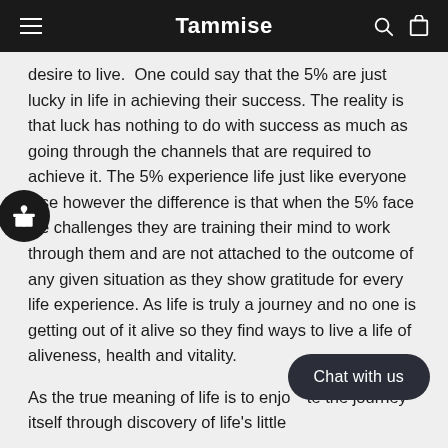Tammise
desire to live.  One could say that the 5% are just lucky in life in achieving their success. The reality is that luck has nothing to do with success as much as going through the channels that are required to achieve it. The 5% experience life just like everyone else however the difference is that when the 5% face life challenges they are training their mind to work through them and are not attached to the outcome of any given situation as they show gratitude for every life experience. As life is truly a journey and no one is getting out of it alive so they find ways to live a life of aliveness, health and vitality.
As the true meaning of life is to enjoy and celebrate the journey itself through discovery of life's little miracles. The enchanting power of every...